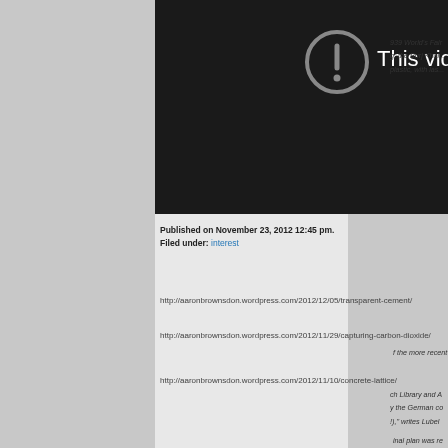[Figure (screenshot): Video player showing an error/unavailable state with a circular exclamation mark icon and partial text 'This vide...' on dark background]
939 World's Fair
g, the Burj Khal...
plastic, with las...
ch Library and A
y the German co
!)," writes Lubel
Published on November 23, 2012 12:45 pm.
Filed under: interest
http://aaronbrownsdon.wordpress.com/2012/12/05/transparent-cement/
f the more recent
http://aaronbrownsdon.wordpress.com/2012/11/29/capturing-carbon-dioxide/
http://aaronbrownsdon.wordpress.com/2012/11/10/concrete-lattice/
inal plan was re